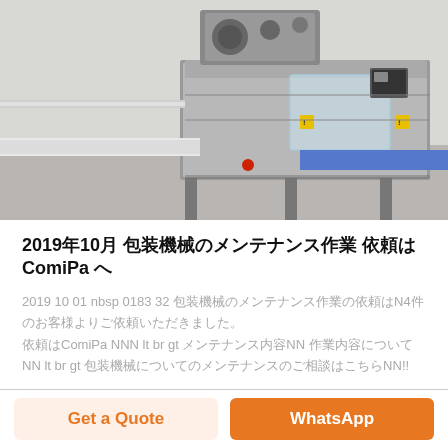[Figure (photo): Photograph of an industrial packaging machine with stainless steel body, transparent guard cover, conveyor belts, and control mechanisms in a factory setting.]
2019年10月 包装機械のメンテナンス作業 依頼はComiPa へ
2019 10 01 nbsp 0183 32 包装機械のメンテナンス作業の依頼はN4件のお客様よりご依頼いただきました。依頼はComiPa NNN lt br gt メンテナンス内容NN 作業内容についてNN lt br gt 包装機械についてのメンテナンスのご相談はこちらNN!!
Get a Quote | WhatsApp